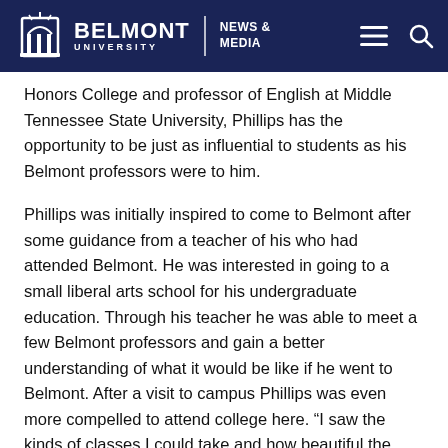Belmont University | NEWS & MEDIA
Honors College and professor of English at Middle Tennessee State University, Phillips has the opportunity to be just as influential to students as his Belmont professors were to him.
Phillips was initially inspired to come to Belmont after some guidance from a teacher of his who had attended Belmont. He was interested in going to a small liberal arts school for his undergraduate education. Through his teacher he was able to meet a few Belmont professors and gain a better understanding of what it would be like if he went to Belmont. After a visit to campus Phillips was even more compelled to attend college here. “I saw the kinds of classes I could take and how beautiful the campus was. I was also impressed with how friendly everyone was,” Phillips said. “I felt like Belmont had a really great sense of community, and I was